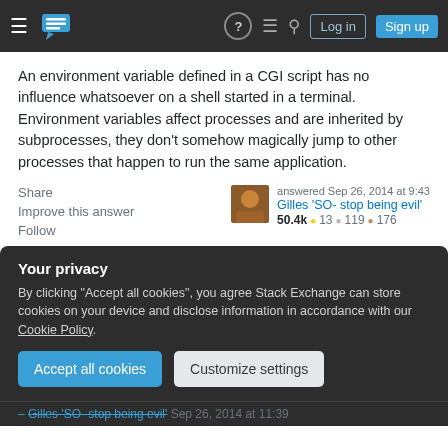Stack Exchange navigation bar with Log in and Sign up buttons
An environment variable defined in a CGI script has no influence whatsoever on a shell started in a terminal. Environment variables affect processes and are inherited by subprocesses, they don't somehow magically jump to other processes that happen to run the same application.
Share | Improve this answer | Follow | answered Sep 26, 2014 at 9:43 Gilles 'SO- stop being evil' 50.4k 13 119 176
Your privacy
By clicking "Accept all cookies", you agree Stack Exchange can store cookies on your device and disclose information in accordance with our Cookie Policy.
Accept all cookies | Customize settings
– Gilles 'SO- stop being evil' Sep 26, 2014 at 11:39